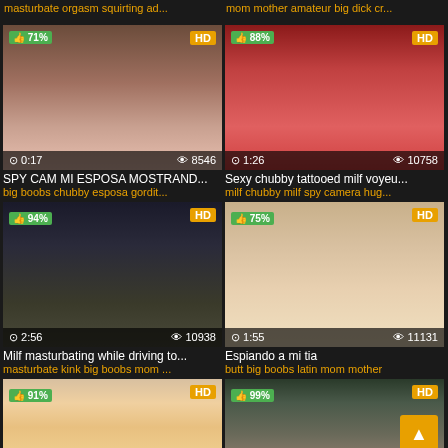masturbate orgasm squirting ad...   mom mother amateur big dick cr...
[Figure (screenshot): Video thumbnail, 0:17 duration, 8546 views, 71% likes, HD badge]
[Figure (screenshot): Video thumbnail, 1:26 duration, 10758 views, 88% likes, HD badge]
SPY CAM MI ESPOSA MOSTRAND...
big boobs chubby esposa gordit...
Sexy chubby tattooed milf voyeu...
milf chubby milf spy camera hug...
[Figure (screenshot): Video thumbnail, 2:56 duration, 10938 views, 94% likes, HD badge]
[Figure (screenshot): Video thumbnail, 1:55 duration, 11131 views, 75% likes, HD badge]
Milf masturbating while driving to...
masturbate kink big boobs mom ...
Espiando a mi tia
butt big boobs latin mom mother
[Figure (screenshot): Video thumbnail partial, 91% likes, HD badge]
[Figure (screenshot): Video thumbnail partial, 99% likes, HD badge, scroll-to-top button]